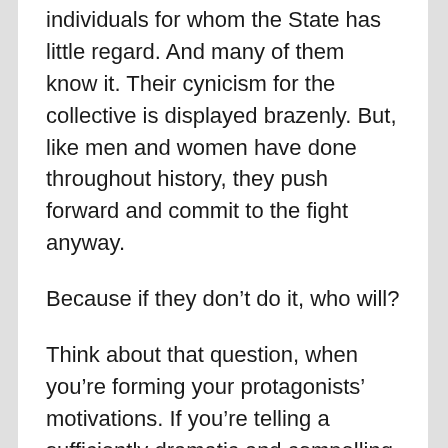individuals for whom the State has little regard. And many of them know it. Their cynicism for the collective is displayed brazenly. But, like men and women have done throughout history, they push forward and commit to the fight anyway.
Because if they don't do it, who will?
Think about that question, when you're forming your protagonists' motivations. If you're telling a sufficiently dramatic and compelling story it's probable your characters are being plunged into a predicament not of their choosing, but for which a certain duty is obvious. We in the Western tradition have historically placed such stories of sacrifice and bravery on pedestals,